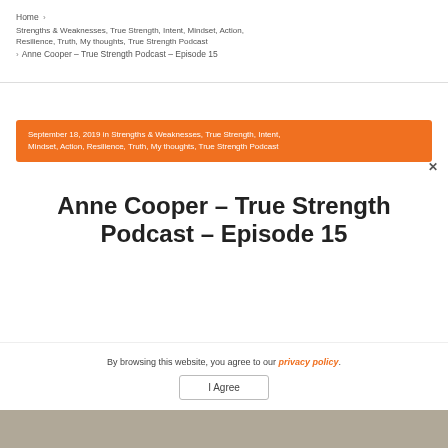Home > Strengths & Weaknesses, True Strength, Intent, Mindset, Action, Resilience, Truth, My thoughts, True Strength Podcast > Anne Cooper – True Strength Podcast – Episode 15
September 18, 2019 in Strengths & Weaknesses, True Strength, Intent, Mindset, Action, Resilience, Truth, My thoughts, True Strength Podcast
Anne Cooper – True Strength Podcast – Episode 15
By browsing this website, you agree to our privacy policy.
I Agree
[Figure (photo): Photo strip at bottom of page]